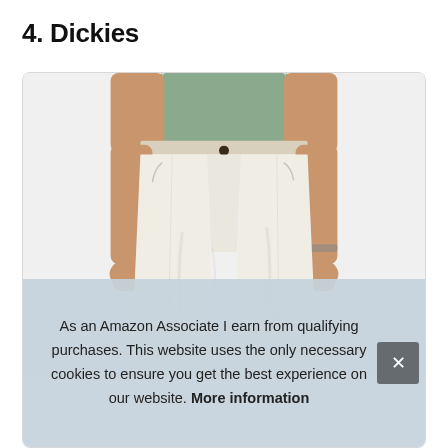4. Dickies
[Figure (photo): Product photo of a person (torso/lower body) wearing white Dickies pants and a sage green t-shirt, shown from approximately waist to knee level. The pants are white/off-white painter-style trousers.]
As an Amazon Associate I earn from qualifying purchases. This website uses the only necessary cookies to ensure you get the best experience on our website. More information